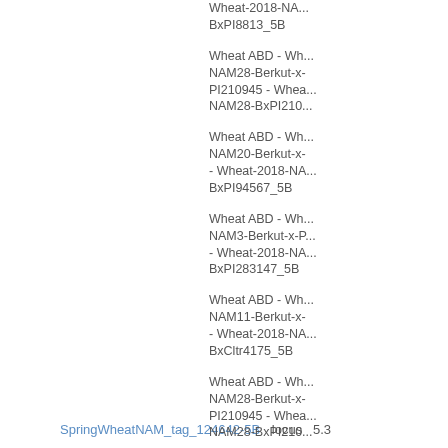SpringWheatNAM_tag_124642-5B   locus   5.3
Wheat-2018-NAM-BxPI8813_5B
Wheat ABD - Wheat-2018-NAM28-Berkut-x-PI210945 - Wheat-2018-NAM28-BxPI210
Wheat ABD - Wheat-2018-NAM20-Berkut-x- - Wheat-2018-NAM-BxPI94567_5B
Wheat ABD - Wheat-2018-NAM3-Berkut-x-P - Wheat-2018-NAM-BxPI283147_5B
Wheat ABD - Wheat-2018-NAM11-Berkut-x- - Wheat-2018-NAM-BxCltr4175_5B
Wheat ABD - Wheat-2018-NAM28-Berkut-x-PI210945 - Wheat-2018-NAM28-BxPI210
Wheat ABD - Wheat-2018-NAM9-Berkut-x-V - Wheat-2018-NAM-BxVida_5B